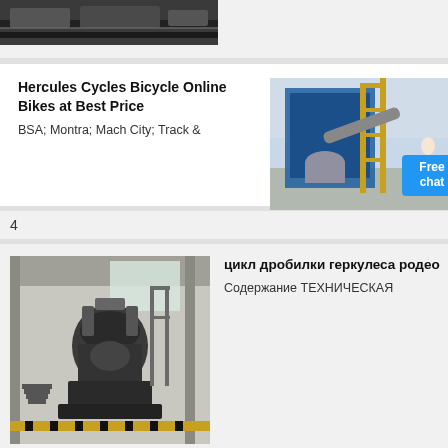[Figure (photo): Partial view of a train/railway machinery image, cropped at top]
[Figure (photo): Industrial facility with blue and yellow steel structure, conveyor belts, and a person in white lab coat with 'Free chat' button overlay]
Hercules Cycles Bicycle Online Bikes at Best Price
BSA; Montra; Mach City; Track &
4
[Figure (photo): Large industrial crusher/mill machine inside a factory building]
цикл дробилки геркулеса родео
Содержание ТЕХНИЧЕСКАЯ